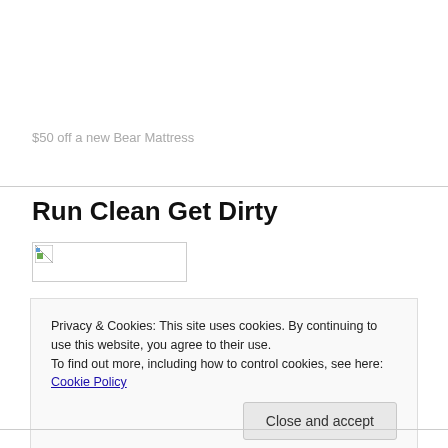$50 off a new Bear Mattress
[Figure (illustration): Broken/placeholder image thumbnail]
Run Clean Get Dirty
Privacy & Cookies: This site uses cookies. By continuing to use this website, you agree to their use.
To find out more, including how to control cookies, see here: Cookie Policy
Close and accept